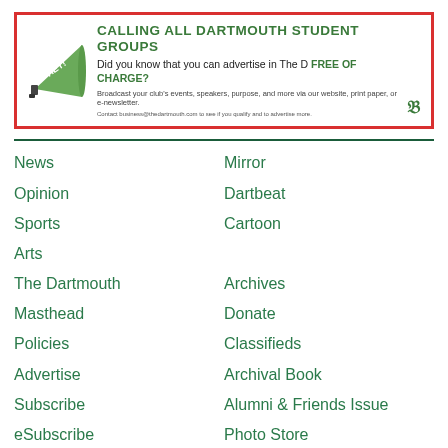[Figure (infographic): Advertisement banner with red border for Dartmouth student groups. Contains a green megaphone graphic with 'HEY!' text, headline 'CALLING ALL DARTMOUTH STUDENT GROUPS', subheadline about advertising in The D FREE OF CHARGE, body text about broadcasting club events, and contact information.]
News
Mirror
Opinion
Dartbeat
Sports
Cartoon
Arts
The Dartmouth
Archives
Masthead
Donate
Policies
Classifieds
Advertise
Archival Book
Subscribe
Alumni & Friends Issue
eSubscribe
Photo Store